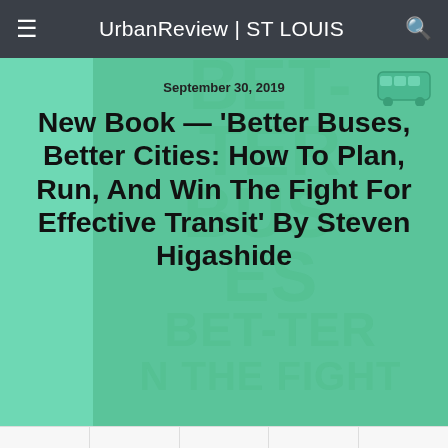UrbanReview | ST LOUIS
September 30, 2019
New Book — ‘Better Buses, Better Cities: How To Plan, Run, And Win The Fight For Effective Transit’ By Steven Higashide
[Figure (screenshot): Book cover background showing 'Better Buses Better Cities' text in large teal letters, partially visible, with a bus icon in the top right]
[Figure (screenshot): Bottom portion of book cover showing 'STEVEN HIGASHIDE' and 'BETTER' text on a red background]
Share  Tweet  Pin  Mail  SMS